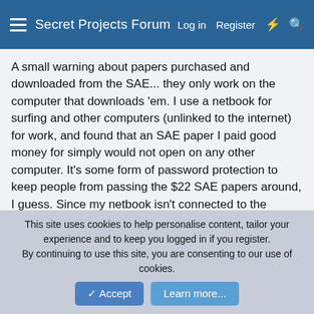Secret Projects Forum  Log in  Register
A small warning about papers purchased and downloaded from the SAE... they only work on the computer that downloads 'em. I use a netbook for surfing and other computers (unlinked to the internet) for work, and found that an SAE paper I paid good money for simply would not open on any other computer. It's some form of password protection to keep people from passing the $22 SAE papers around, I guess. Since my netbook isn't connected to the printer, I can't even print the fargin' thing.
bigvlada
ACCESS: Secret
This site uses cookies to help personalise content, tailor your experience and to keep you logged in if you register.
By continuing to use this site, you are consenting to our use of cookies.